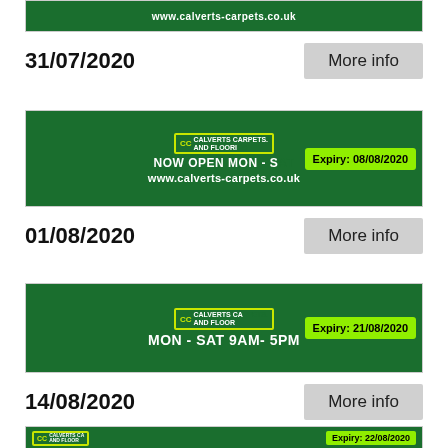[Figure (screenshot): Calverts Carpets and Flooring banner showing www.calverts-carpets.co.uk (partial, top of page)]
31/07/2020
More info
[Figure (screenshot): Calverts Carpets and Flooring banner showing NOW OPEN MON - S... www.calverts-carpets.co.uk with expiry tag: Expiry: 08/08/2020]
01/08/2020
More info
[Figure (screenshot): Calverts Carpets and Flooring banner showing MON - SAT 9am - 5pm with expiry tag: Expiry: 21/08/2020]
14/08/2020
More info
[Figure (screenshot): Calverts Carpets and Flooring partial banner with expiry tag: Expiry: 22/08/2020]